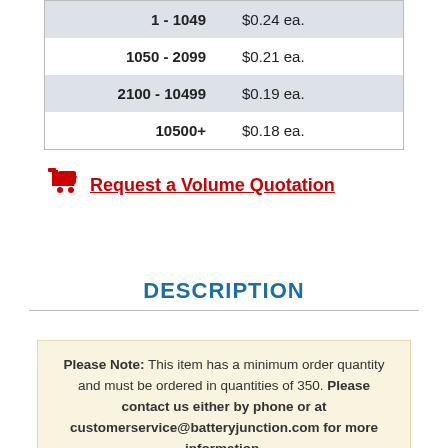| Quantity | Price |
| --- | --- |
| 1 - 1049 | $0.24 ea. |
| 1050 - 2099 | $0.21 ea. |
| 2100 - 10499 | $0.19 ea. |
| 10500+ | $0.18 ea. |
Request a Volume Quotation
DESCRIPTION
Please Note: This item has a minimum order quantity and must be ordered in quantities of 350. Please contact us either by phone or at customerservice@batteryjunction.com for more information.